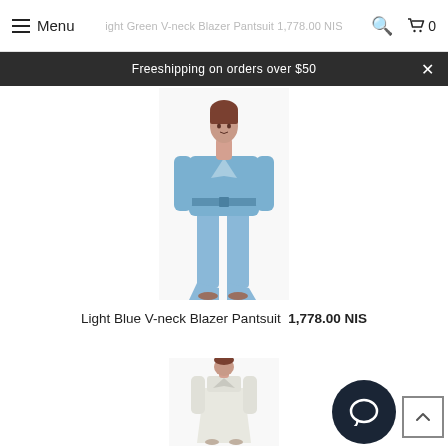Menu | Light Green V-neck Blazer Pantsuit 1,778.00 NIS [search] [cart 0]
Freeshipping on orders over $50
[Figure (photo): Fashion product photo: woman wearing a light blue V-neck blazer pantsuit with belted waist and wide-leg trousers]
Light Blue V-neck Blazer Pantsuit 1,778.00 NIS
[Figure (photo): Fashion product photo: woman wearing a white/cream wrap-style dress with long sleeves]